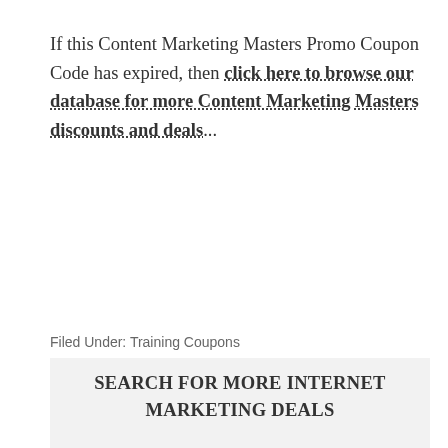If this Content Marketing Masters Promo Coupon Code has expired, then click here to browse our database for more Content Marketing Masters discounts and deals...
Filed Under: Training Coupons
Tagged With: Chris Von Wilpert, Content Marketing, Content Marketing Course, Content Marketing Masters, Content Mavericks, Justin Brooke
SEARCH FOR MORE INTERNET MARKETING DEALS